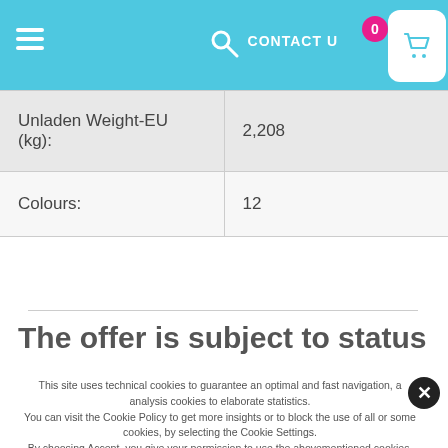CONTACT US | 0 | [cart icon]
| Unladen Weight-EU (kg): | 2,208 |
| Colours: | 12 |
The offer is subject to status
This site uses technical cookies to guarantee an optimal and fast navigation, and analysis cookies to elaborate statistics.
You can visit the Cookie Policy to get more insights or to block the use of all or some cookies, by selecting the Cookie Settings.
By choosing Accept, you give your permission to use the abovementioned cookies.
I ACCEPT | MY PREFERENCES | I DECLINE
Privacy Center  Privacy Settings  Cookie Policy